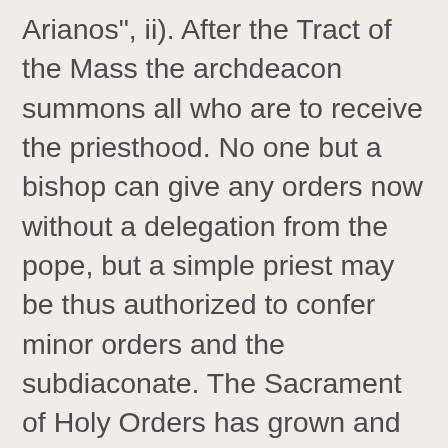Arianos", ii). After the Tract of the Mass the archdeacon summons all who are to receive the priesthood. No one but a bishop can give any orders now without a delegation from the pope, but a simple priest may be thus authorized to confer minor orders and the subdiaconate. The Sacrament of Holy Orders has grown and changed over the past 2,000 years. Available for iOS, Android, Blackberry, Windows Phone and more. The Holy Bible King James Version Bible Scripture Interlinear King James Version Bible in Basic English Union Version (GB) Union Version (Big5) Bible Study Tool Search in Bible Verse Memorization Daily Devotion Biblical Information Bible Resource Download Bible Bible Links E-mail Us: The Holy Bible King James Version. Its existence is shown especially by the fact that ordination like baptism, if ever valid, can never be repeated. eccl. I would like to spend time this issue focusing on the origins and historical development of the priesthood, and its